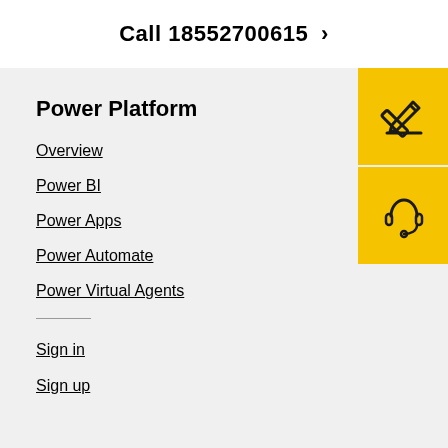Call 18552700615 ›
Power Platform
Overview
Power BI
Power Apps
Power Automate
Power Virtual Agents
[Figure (illustration): Yellow square icon with a pencil/edit symbol]
[Figure (illustration): Yellow square icon with a headset/support symbol]
Sign in
Sign up